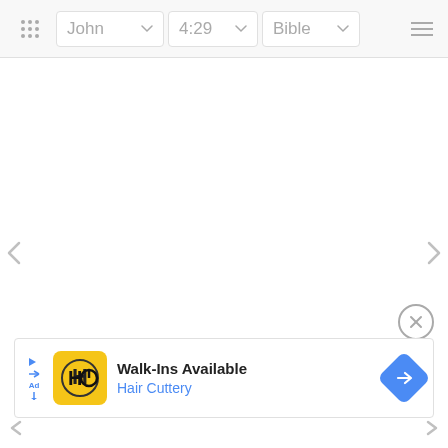John  4:29  Bible
[Figure (screenshot): Blank white Bible app content area with left and right navigation arrows]
[Figure (infographic): Advertisement: Walk-Ins Available - Hair Cuttery, with yellow logo, play/ad icon, and navigation arrow icon]